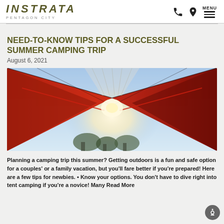INSTRATA PENTAGON CITY [logo] [phone icon] [location icon] MENU
NEED-TO-KNOW TIPS FOR A SUCCESSFUL SUMMER CAMPING TRIP
August 6, 2021
[Figure (photo): View from inside a red camping tent looking outward, with sunlight streaming in and trees visible in the background]
Planning a camping trip this summer? Getting outdoors is a fun and safe option for a couples' or a family vacation, but you'll fare better if you're prepared! Here are a few tips for newbies. • Know your options. You don't have to dive right into tent camping if you're a novice! Many  Read More